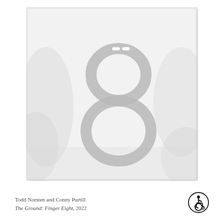[Figure (photo): A faded, washed-out photograph of a physical artwork — a flat white rectangular surface printed with a large grey figure-eight (8) symbol. The image is translucent/ghostly in appearance, with a white background and light grey tones. A small white clip or fastener appears near the top of the numeral.]
Todd Norsten and Conny Purtill
The Ground: Finger Eight, 2022
[Figure (logo): Accessibility symbol — a circular icon showing a person using a wheelchair, black on white, enclosed in a circle.]